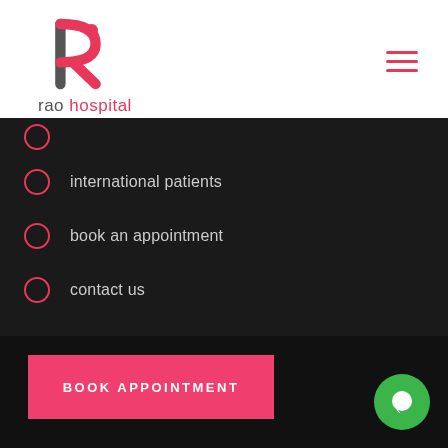[Figure (logo): Rao Hospital logo with stylized R letter in pink/red and text 'rao hospital']
international patients
book an appointment
contact us
Copyright ... Ospitale. All rights reserved.
[Figure (other): Pink 'BOOK APPOINTMENT' button overlay]
[Figure (other): Green chat bubble circle icon at bottom right]